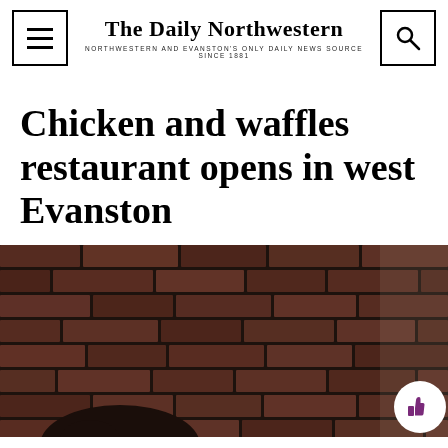The Daily Northwestern — NORTHWESTERN AND EVANSTON'S ONLY DAILY NEWS SOURCE SINCE 1881
Chicken and waffles restaurant opens in west Evanston
[Figure (photo): Interior photo of a restaurant with dark red/brown stacked brick wall, dimly lit ambiance, with a person partially visible at the bottom of the frame. A circular white thumbs-up button appears in the bottom-right corner.]